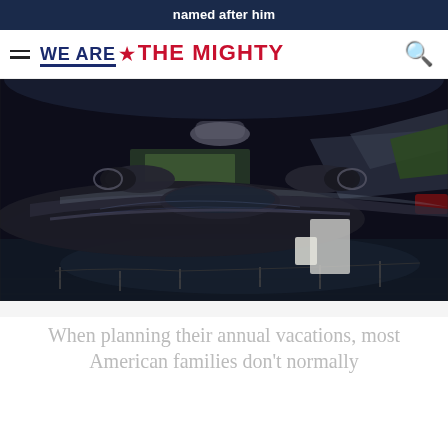named after him
WE ARE ★ THE MIGHTY
[Figure (photo): Interior of an air and space museum displaying military aircraft including a sleek black SR-71 Blackbird spy plane in the foreground, with other aircraft visible in the background under dramatic lighting.]
When planning their annual vacations, most American families don't normally